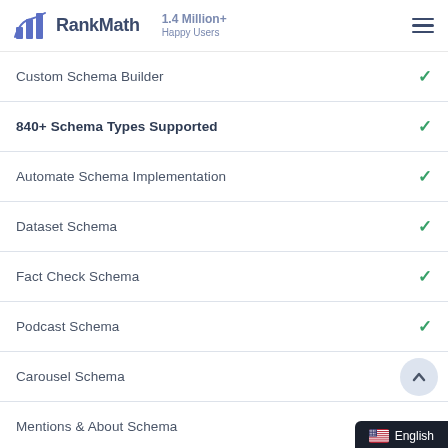RankMath — 1.4 Million+ Happy Users
Custom Schema Builder ✓
840+ Schema Types Supported ✓
Automate Schema Implementation ✓
Dataset Schema ✓
Fact Check Schema ✓
Podcast Schema ✓
Carousel Schema
Mentions & About Schema